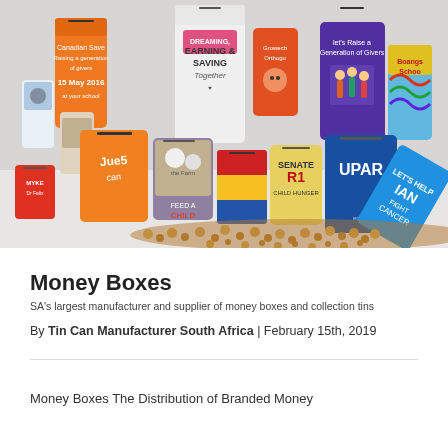[Figure (photo): Collection of branded money boxes and collection tins in various colors and designs, with coins spilled in the foreground. Tins include designs for various charities, campaigns, and brands including 'Dreaming, Earning & Saving Together', 'Feed a Child', 'Senate R1', 'UPAR', 'Let's Help Ian Fight Cancer', and others.]
Money Boxes
SA's largest manufacturer and supplier of money boxes and collection tins
By Tin Can Manufacturer South Africa | February 15th, 2019
Money Boxes The Distribution of Branded Money